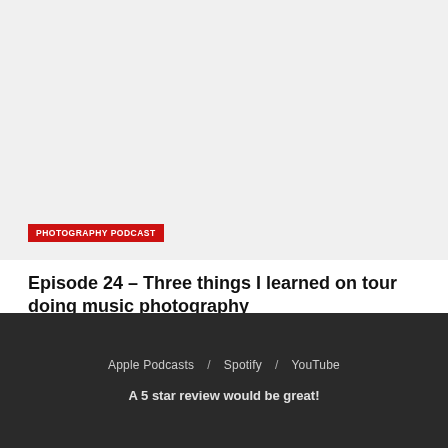[Figure (photo): Light gray placeholder image area at the top of the article card]
PHOTOGRAPHY PODCAST
Episode 24 – Three things I learned on tour doing music photography
BY MATT WALTER  APRIL 22, 2020  1.6K
Apple Podcasts / Spotify / YouTube
A 5 star review would be great!